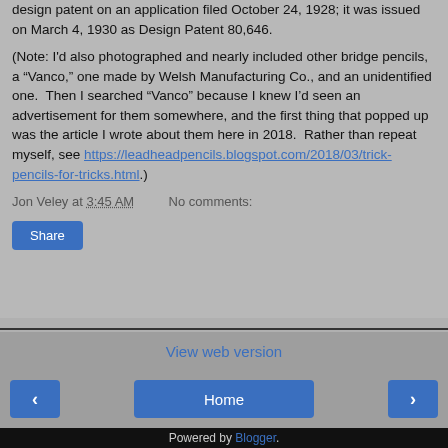design patent on an application filed October 24, 1928; it was issued on March 4, 1930 as Design Patent 80,646.
(Note: I'd also photographed and nearly included other bridge pencils, a “Vanco,” one made by Welsh Manufacturing Co., and an unidentified one.  Then I searched “Vanco” because I knew I’d seen an advertisement for them somewhere, and the first thing that popped up was the article I wrote about them here in 2018.  Rather than repeat myself, see https://leadheadpencils.blogspot.com/2018/03/trick-pencils-for-tricks.html.)
Jon Veley at 3:45 AM    No comments:
Share
Home
View web version
Powered by Blogger.